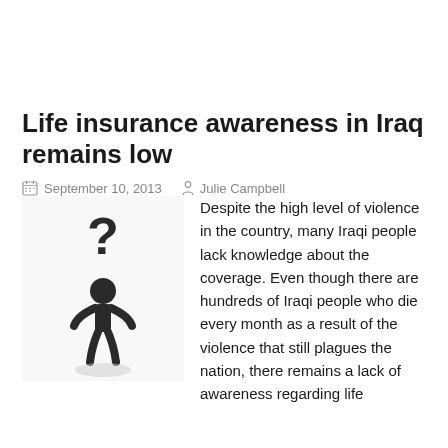Life insurance awareness in Iraq remains low
September 10, 2013   Julie Campbell
[Figure (illustration): A black clay figure of a person with a question mark above its head, representing confusion or lack of knowledge.]
Despite the high level of violence in the country, many Iraqi people lack knowledge about the coverage. Even though there are hundreds of Iraqi people who die every month as a result of the violence that still plagues the nation, there remains a lack of awareness regarding life